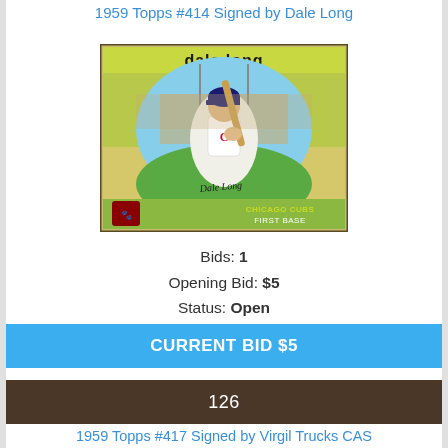1959 Topps #414 Signed by Dale Long
[Figure (illustration): 1959 Topps baseball card #414 signed by Dale Long. Card features a photo of Dale Long holding a bat, with 'dale long' text at top on a yellow-green background. Bottom text reads 'CHICAGO CUBS FIRST BASE' with a Cubs bear paw logo. A signature is visible across the card.]
Bids: 1
Opening Bid: $5
Status: Open
CURRENT BID $5
126
1959 Topps #417 Signed by Virgil Trucks CAS